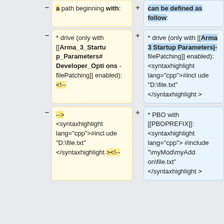- a path beginning with:
+ can be defined as follow:
- * drive (only with [[Arma_3_Startup_Parameters#Developer_Options - filePatching]] enabled):<!--
+ * drive (only with [[Arma 3 Startup Parameters|-filePatching]] enabled): <syntaxhighlight lang="cpp">#include "D:\file.txt" </syntaxhighlight>
- --> <syntaxhighlight lang="cpp">#include "D:\file.txt" </syntaxhighlight><!--
+ * PBO with [[PBOPREFIX]]: <syntaxhighlight lang="cpp"> #include "\myMod\myAddon\file.txt" </syntaxhighlight>